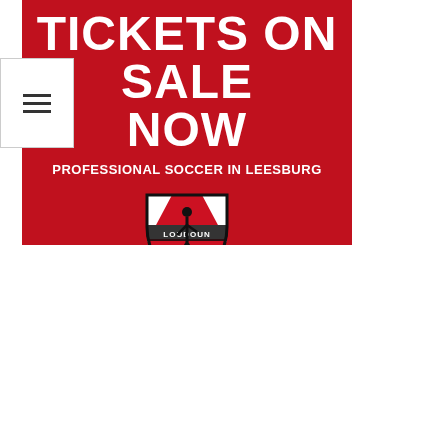[Figure (illustration): Loudoun United FC promotional banner on red background with bold white text reading 'TICKETS ON SALE NOW' and 'PROFESSIONAL SOCCER IN LEESBURG', with the Loudoun United FC shield logo (red, white, black with soccer player silhouette) centered below the text. A navigation hamburger menu button overlays the top-left corner.]